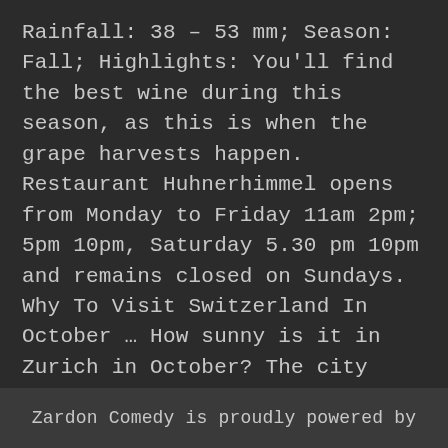Rainfall: 38 – 53 mm; Season: Fall; Highlights: You'll find the best wine during this season, as this is when the grape harvests happen. Restaurant Huhnerhimmel opens from Monday to Friday 11am 2pm; 5pm 10pm, Saturday 5.30 pm 10pm and remains closed on Sundays. Why To Visit Switzerland In October … How sunny is it in Zurich in October? The city famous for its ancient and medieval design creatively blended with modern day living is one of Europe's major financial hubs and a tourist hotspot. October receives rainfall for 21 days of the month. These unique stores enrich Zurich's Old Town. Hikes, wine tastings, culture, and culinary specialties from the region all make fall a perfect time of year in Zurich. Fraumunster Church cannot be missed on your tour of Zurich as it's
Zardon Comedy is proudly powered by